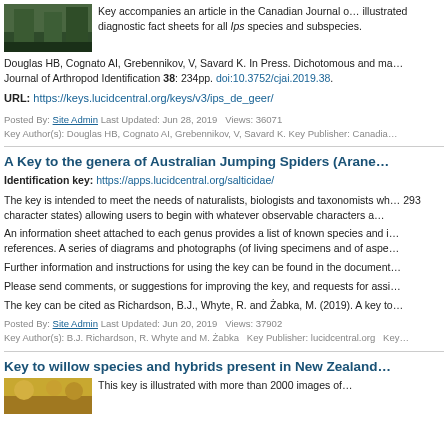[Figure (photo): Thumbnail photo of bark beetle or forest scene]
Key accompanies an article in the Canadian Journal of illustrated diagnostic fact sheets for all Ips species and subspecies.
Douglas HB, Cognato AI, Grebennikov, V, Savard K. In Press. Dichotomous and ma Journal of Arthropod Identification 38: 234pp. doi:10.3752/cjai.2019.38.
URL: https://keys.lucidcentral.org/keys/v3/ips_de_geer/
Posted By: Site Admin Last Updated: Jun 28, 2019 Views: 36071
Key Author(s): Douglas HB, Cognato AI, Grebennikov, V, Savard K. Key Publisher: Canadia
A Key to the genera of Australian Jumping Spiders (Arane…
Identification key: https://apps.lucidcentral.org/salticidae/
The key is intended to meet the needs of naturalists, biologists and taxonomists wh… 293 character states) allowing users to begin with whatever observable characters a…
An information sheet attached to each genus provides a list of known species and i… references. A series of diagrams and photographs (of living specimens and of aspe…
Further information and instructions for using the key can be found in the document…
Please send comments, or suggestions for improving the key, and requests for assi…
The key can be cited as Richardson, B.J., Whyte, R. and Żabka, M. (2019). A key to…
Posted By: Site Admin Last Updated: Jun 20, 2019 Views: 37902
Key Author(s): B.J. Richardson, R. Whyte and M. Żabka Key Publisher: lucidcentral.org Key…
Key to willow species and hybrids present in New Zealand…
[Figure (photo): Thumbnail photo related to willow species]
This key is illustrated with more than 2000 images of…